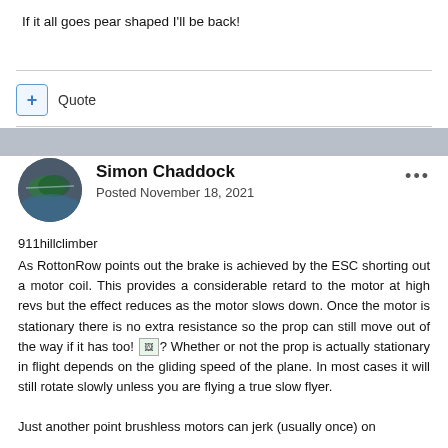If it all goes pear shaped I'll be back!
Quote
Simon Chaddock
Posted November 18, 2021
911hillclimber
As RottonRow points out the brake is achieved by the ESC shorting out a motor coil. This provides a considerable retard to the motor at high revs but the effect reduces as the motor slows down. Once the motor is stationary there is no extra resistance so the prop can still move out of the way if it has too! ? Whether or not the prop is actually stationary in flight depends on the gliding speed of the plane. In most cases it will still rotate slowly unless you are flying a true slow flyer.

Just another point brushless motors can jerk (usually once) on